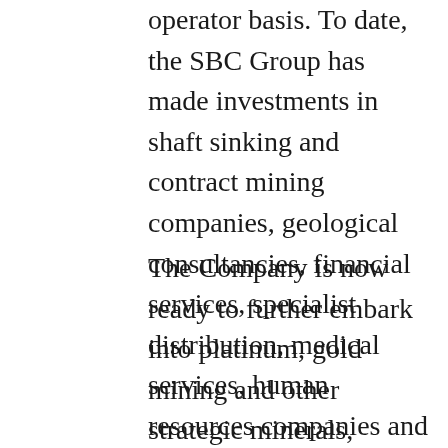operator basis. To date, the SBC Group has made investments in shaft sinking and contract mining companies, geological consultancies, financial services, specialist distribution, medical services, human resources companies and heavy engineering services.
The Company is now ready to further embark into platinum, gold mining and other strategic minerals, backed by the appropriate technical, operational and financial skills to complement the range of services and capabilities already developed within the group.